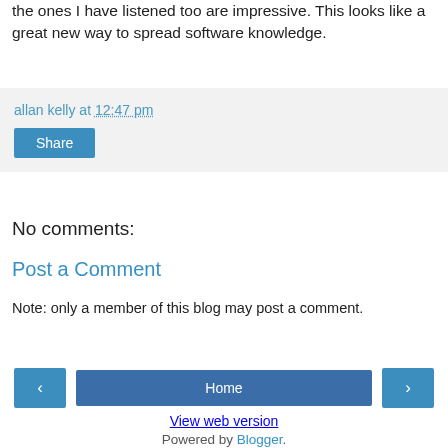the ones I have listened too are impressive. This looks like a great new way to spread software knowledge.
allan kelly at 12:47 pm
Share
No comments:
Post a Comment
Note: only a member of this blog may post a comment.
‹
Home
›
View web version
Powered by Blogger.